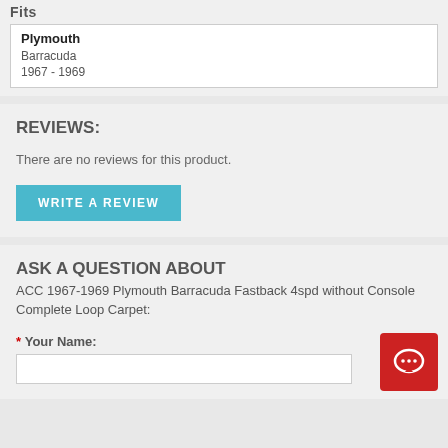| Plymouth |
| Barracuda |
| 1967 - 1969 |
REVIEWS:
There are no reviews for this product.
WRITE A REVIEW
ASK A QUESTION ABOUT
ACC 1967-1969 Plymouth Barracuda Fastback 4spd without Console Complete Loop Carpet:
* Your Name: